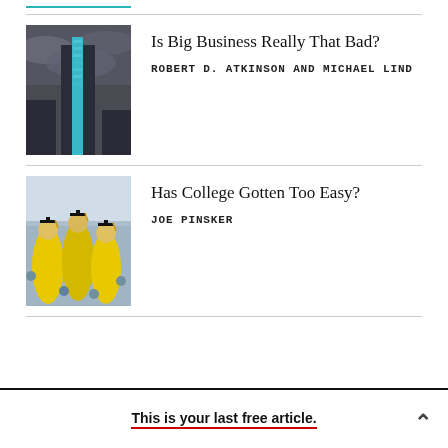[Figure (photo): Partial thumbnail image at top, teal/turquoise colored]
Is Big Business Really That Bad?
ROBERT D. ATKINSON AND MICHAEL LIND
[Figure (photo): Dark moody photo of a tall skyscraper with glowing blue/teal vertical stripe, stormy sky]
Has College Gotten Too Easy?
JOE PINSKER
[Figure (photo): Photo of people in yellow banana costumes at a stadium/graduation event]
This is your last free article.